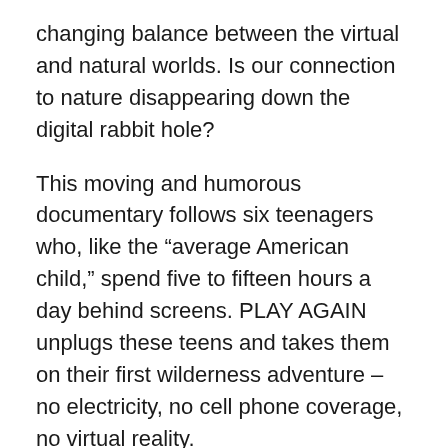changing balance between the virtual and natural worlds. Is our connection to nature disappearing down the digital rabbit hole?
This moving and humorous documentary follows six teenagers who, like the “average American child,” spend five to fifteen hours a day behind screens. PLAY AGAIN unplugs these teens and takes them on their first wilderness adventure – no electricity, no cell phone coverage, no virtual reality.
Through the voices of children and leading experts including journalist Richard Louv, sociologist Juliet Schor, environmental writer Bill McKibben, educators Diane Levin and Nancy Carlsson-Paige, neuroscientist Gary Small, parks advocate Charles Jordan, and geneticist David Suzuki, PLAY AGAIN investigates the consequences of a